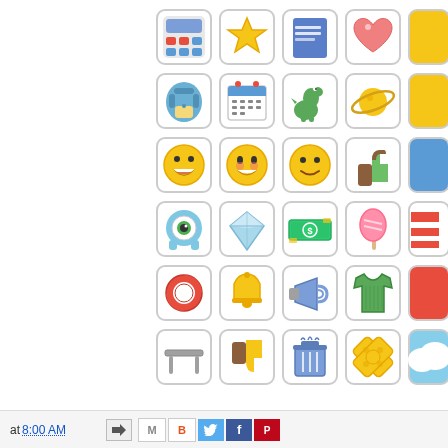[Figure (illustration): Grid of colorful emoji/icon stickers arranged in 6 rows of 5 icons each (partially cropped on right): calculator, star, notebook, heart, (cropped); backpack, calendar, dinosaur, planet, (cropped); laughing emoji x3, thumbs up, shield; monster eye, diamond, money, popsicle, (cropped); life ring, bell, megaphone, shirt, (cropped); desk, thumbs down, trash, bandage cross, (cropped)]
at 8:00 AM [share icons: email forward, Gmail, Blogger, Twitter, Facebook, Pinterest]